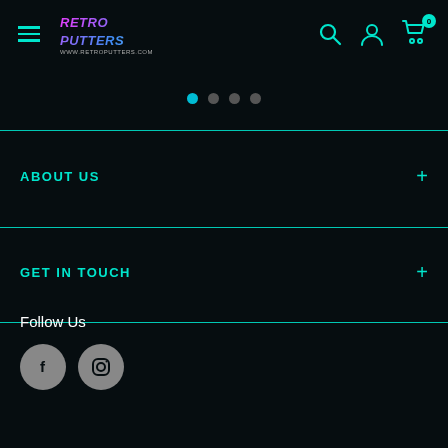Navigation header with hamburger menu, logo (Retro Putters), search icon, user icon, cart icon with badge 0
[Figure (other): Carousel dots indicator: 4 dots, first one active (teal/cyan), others grey]
ABOUT US
GET IN TOUCH
Follow Us
[Figure (other): Social media icons: Facebook (f) and Instagram circular grey buttons]